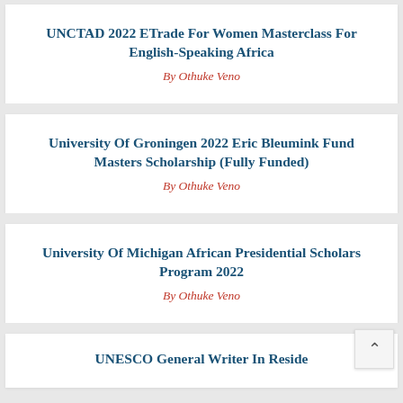UNCTAD 2022 ETrade For Women Masterclass For English-Speaking Africa
By Othuke Veno
University Of Groningen 2022 Eric Bleumink Fund Masters Scholarship (Fully Funded)
By Othuke Veno
University Of Michigan African Presidential Scholars Program 2022
By Othuke Veno
UNESCO General Writer In Residence